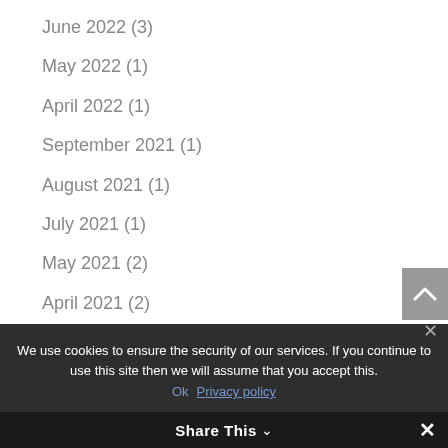June 2022 (3)
May 2022 (1)
April 2022 (1)
September 2021 (1)
August 2021 (1)
July 2021 (1)
May 2021 (2)
April 2021 (2)
March 2021 (1)
We use cookies to ensure the security of our services. If you continue to use this site then we will assume that you accept this. Ok Privacy policy Share This ✕